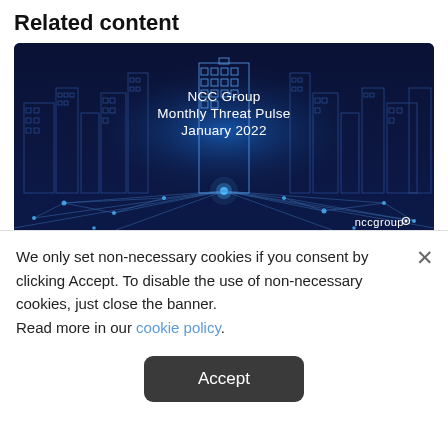Related content
[Figure (illustration): NCC Group Monthly Threat Pulse January 2022 - dark blue background with wireframe city skyline and network nodes/lines in foreground. 'nccgroup' logo bottom right.]
We only set non-necessary cookies if you consent by clicking Accept. To disable the use of non-necessary cookies, just close the banner.
Read more in our cookie policy.
Accept